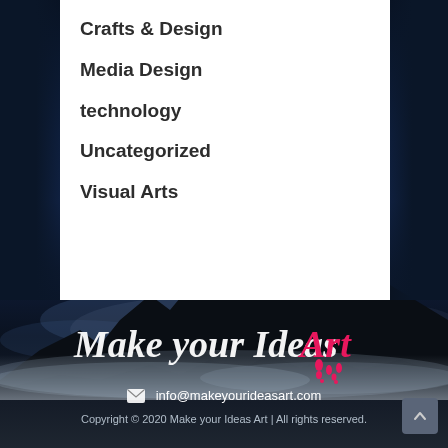Crafts & Design
Media Design
technology
Uncategorized
Visual Arts
[Figure (photo): Dark blue night sky with mountain silhouette and misty clouds, used as footer background]
Make your Ideas Art
info@makeyourideasart.com
Copyright © 2020 Make your Ideas Art | All rights reserved.